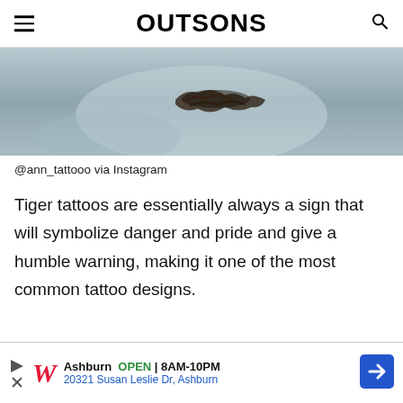OUTSONS
[Figure (photo): Close-up photo of a tiger tattoo on skin, partial view showing dark ink tattoo design]
@ann_tattooo via Instagram
Tiger tattoos are essentially always a sign that will symbolize danger and pride and give a humble warning, making it one of the most common tattoo designs.
[Figure (other): Walgreens advertisement: Ashburn OPEN | 8AM-10PM, 20321 Susan Leslie Dr, Ashburn]